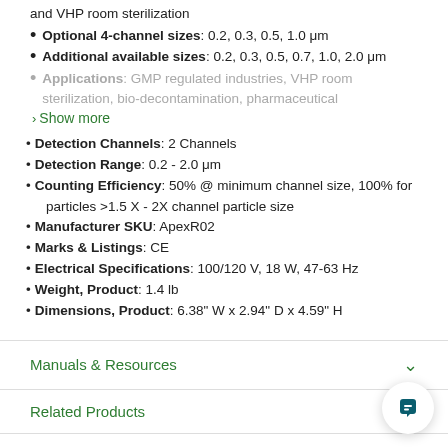and VHP room sterilization
Optional 4-channel sizes: 0.2, 0.3, 0.5, 1.0 μm
Additional available sizes: 0.2, 0.3, 0.5, 0.7, 1.0, 2.0 μm
Applications: GMP regulated industries, VHP room sterilization, bio-decontamination, pharmaceutical
Show more
Detection Channels: 2 Channels
Detection Range: 0.2 - 2.0 μm
Counting Efficiency: 50% @ minimum channel size, 100% for particles >1.5 X - 2X channel particle size
Manufacturer SKU: ApexR02
Marks & Listings: CE
Electrical Specifications: 100/120 V, 18 W, 47-63 Hz
Weight, Product: 1.4 lb
Dimensions, Product: 6.38" W x 2.94" D x 4.59" H
Manuals & Resources
Related Products
Buy Accessories